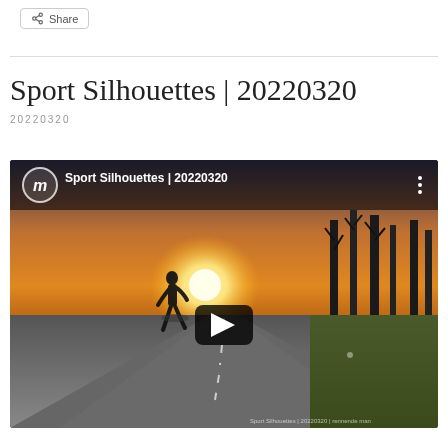Share
Sport Silhouettes | 20220320
20220320
[Figure (screenshot): YouTube video thumbnail for 'Sport Silhouettes | 20220320' showing a runner silhouette on a road at sunset with a play button overlay and channel logo]